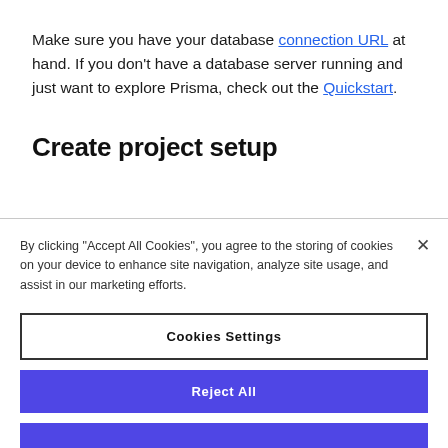Make sure you have your database connection URL at hand. If you don't have a database server running and just want to explore Prisma, check out the Quickstart.
Create project setup
By clicking "Accept All Cookies", you agree to the storing of cookies on your device to enhance site navigation, analyze site usage, and assist in our marketing efforts.